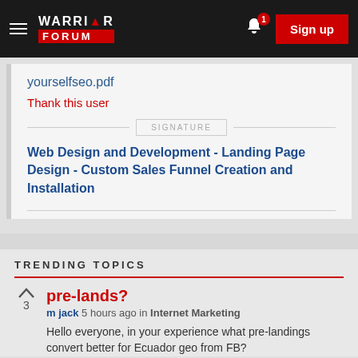Warrior Forum — Sign up
yourselfseo.pdf
Thank this user
SIGNATURE
Web Design and Development - Landing Page Design - Custom Sales Funnel Creation and Installation
TRENDING TOPICS
pre-lands?
m jack 5 hours ago in Internet Marketing
Hello everyone, in your experience what pre-landings convert better for Ecuador geo from FB?